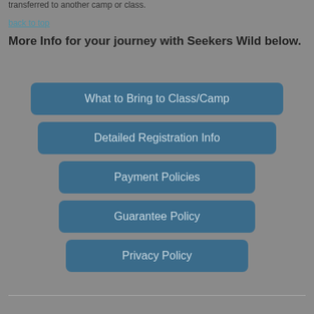transferred to another camp or class.
back to top
More Info for your journey with Seekers Wild below.
What to Bring to Class/Camp
Detailed Registration Info
Payment Policies
Guarantee Policy
Privacy Policy